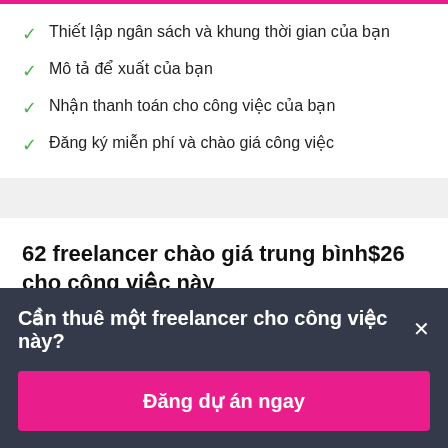Thiết lập ngân sách và khung thời gian của bạn
Mô tả để xuất của bạn
Nhận thanh toán cho công việc của bạn
Đăng ký miễn phí và chào giá công việc
62 freelancer chào giá trung bình$26 cho công việc này
Cần thuê một freelancer cho công việc này?
Đăng dự án ngay